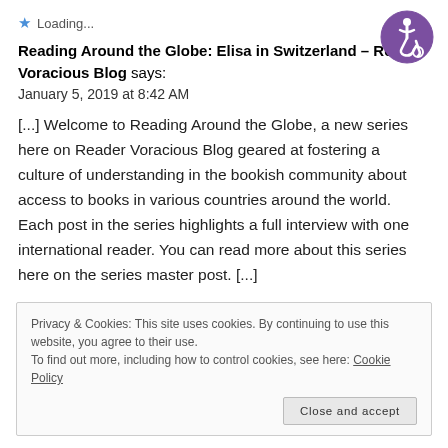Loading...
Reading Around the Globe: Elisa in Switzerland – Reader Voracious Blog says:
January 5, 2019 at 8:42 AM
[...] Welcome to Reading Around the Globe, a new series here on Reader Voracious Blog geared at fostering a culture of understanding in the bookish community about access to books in various countries around the world. Each post in the series highlights a full interview with one international reader. You can read more about this series here on the series master post. [...]
Privacy & Cookies: This site uses cookies. By continuing to use this website, you agree to their use.
To find out more, including how to control cookies, see here: Cookie Policy